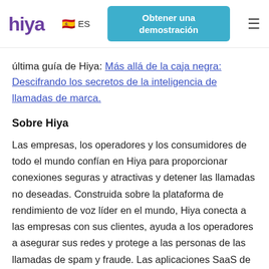hiya | ES | Obtener una demostración | ☰
última guía de Hiya: Más allá de la caja negra: Descifrando los secretos de la inteligencia de llamadas de marca.
Sobre Hiya
Las empresas, los operadores y los consumidores de todo el mundo confían en Hiya para proporcionar conexiones seguras y atractivas y detener las llamadas no deseadas. Construida sobre la plataforma de rendimiento de voz líder en el mundo, Hiya conecta a las empresas con sus clientes, ayuda a los operadores a asegurar sus redes y protege a las personas de las llamadas de spam y fraude. Las aplicaciones SaaS de Hiya, Hiya Connect y Hiya Protect, dan servicio a más